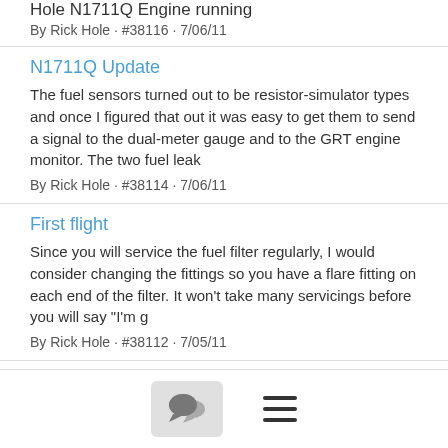Hole N1711Q Engine running
By Rick Hole · #38116 · 7/06/11
N1711Q Update
The fuel sensors turned out to be resistor-simulator types and once I figured that out it was easy to get them to send a signal to the dual-meter gauge and to the GRT engine monitor. The two fuel leak
By Rick Hole · #38114 · 7/06/11
First flight
Since you will service the fuel filter regularly, I would consider changing the fittings so you have a flare fitting on each end of the filter. It won't take many servicings before you will say "I'm g
By Rick Hole · #38112 · 7/05/11
N1711Q Update
With the O200 engine out of service for five years or so we expected it would take a while to develop oil pressure. Fill the sump nearly full, remove the plugs, fog the cylinders, run the